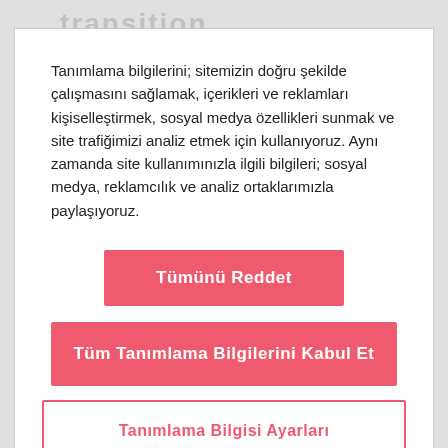transition
Tanımlama bilgilerini; sitemizin doğru şekilde çalışmasını sağlamak, içerikleri ve reklamları kişiselleştirmek, sosyal medya özellikleri sunmak ve site trafiğimizi analiz etmek için kullanıyoruz. Aynı zamanda site kullanımınızla ilgili bilgileri; sosyal medya, reklamcılık ve analiz ortaklarımızla paylaşıyoruz.
Tümünü Reddet
Tüm Tanımlama Bilgilerini Kabul Et
Tanımlama Bilgisi Ayarları
[Figure (photo): Aerial view of solar panels or similar industrial installation on earth/dirt terrain with trees in background]